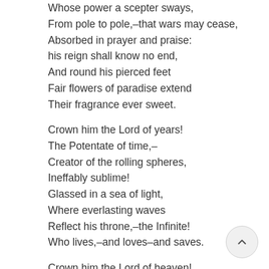Whose power a scepter sways,
From pole to pole,–that wars may cease,
Absorbed in prayer and praise:
his reign shall know no end,
And round his pierced feet
Fair flowers of paradise extend
Their fragrance ever sweet.

Crown him the Lord of years!
The Potentate of time,–
Creator of the rolling spheres,
Ineffably sublime!
Glassed in a sea of light,
Where everlasting waves
Reflect his throne,–the Infinite!
Who lives,–and loves–and saves.

Crown him the Lord of heaven!